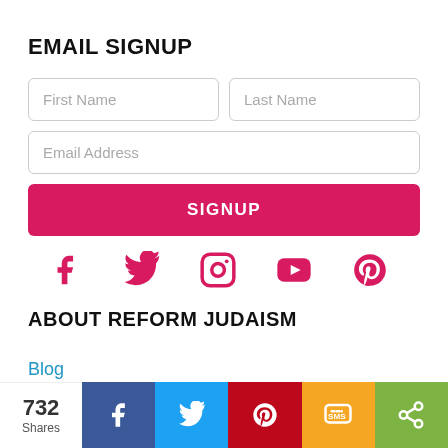EMAIL SIGNUP
[Figure (screenshot): Email signup form with First Name, Last Name, Email Address fields and a pink SIGNUP button]
[Figure (infographic): Social media icons: Facebook, Twitter, Instagram, YouTube, Pinterest in pink/crimson color]
ABOUT REFORM JUDAISM
Blog
Contact Us
732 Shares — share bar with Facebook, Twitter, Pinterest, SMS, More buttons